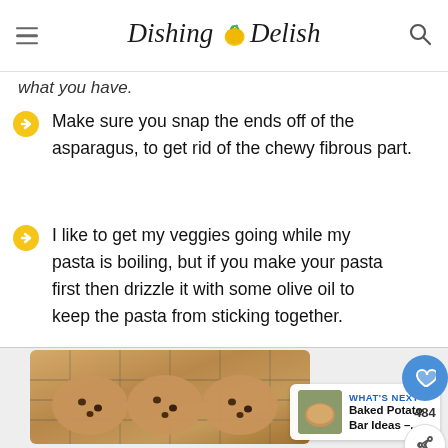Dishing Delish
what you have.
Make sure you snap the ends off of the asparagus, to get rid of the chewy fibrous part.
I like to get my veggies going while my pasta is boiling, but if you make your pasta first then drizzle it with some olive oil to keep the pasta from sticking together.
[Figure (photo): Chocolate chip cookies on a wire cooling rack, partially visible at the bottom of the page]
WHAT'S NEXT → Baked Potato Bar Ideas –...